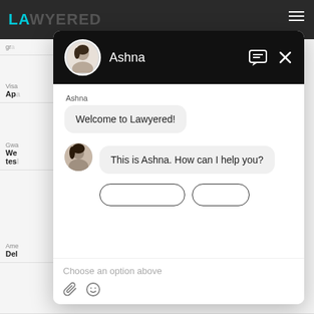[Figure (screenshot): Screenshot of the Lawyered website with a chat widget overlay. The background shows the Lawyered navigation bar in dark gray with the teal logo. The chat widget shows agent 'Ashna' in a black header with avatar, message bubbles saying 'Welcome to Lawyered!' and 'This is Ashna. How can I help you?', option buttons, an input placeholder 'Choose an option above', and icons for attachment and emoji.]